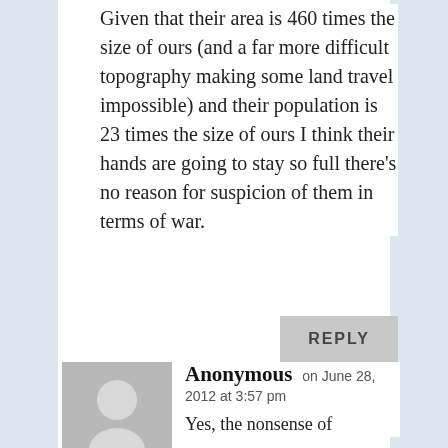Given that their area is 460 times the size of ours (and a far more difficult topography making some land travel impossible) and their population is 23 times the size of ours I think their hands are going to stay so full there's no reason for suspicion of them in terms of war.
REPLY
[Figure (illustration): Grey anonymous user avatar placeholder with silhouette of a person]
Anonymous on June 28, 2012 at 3:57 pm
Yes, the nonsense of